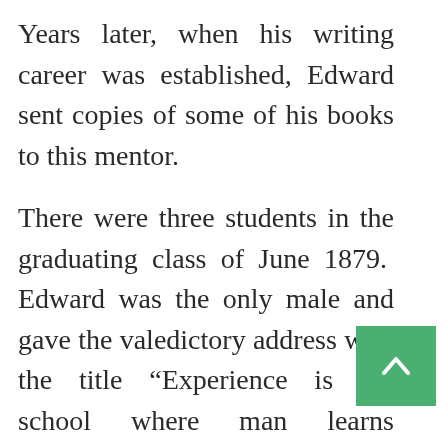Years later, when his writing career was established, Edward sent copies of some of his books to this mentor.
There were three students in the graduating class of June 1879. Edward was the only male and gave the valedictory address with the title “Experience is the school where man learns wisdom.” Like other commencement speeches, it contains reflections and a look ahead on the future life of graduates.